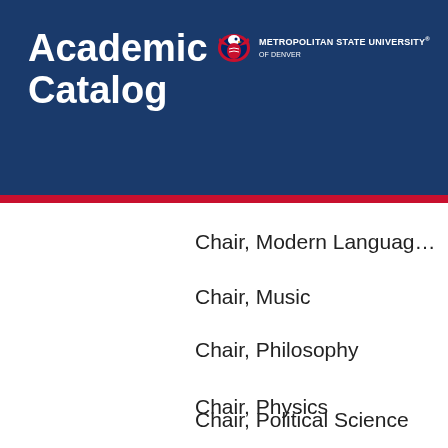Academic Catalog
[Figure (logo): Metropolitan State University of Denver logo with eagle mascot and text]
Chair, Modern Languages
Chair, Music
Chair, Philosophy
Chair, Physics
Chair, Political Science